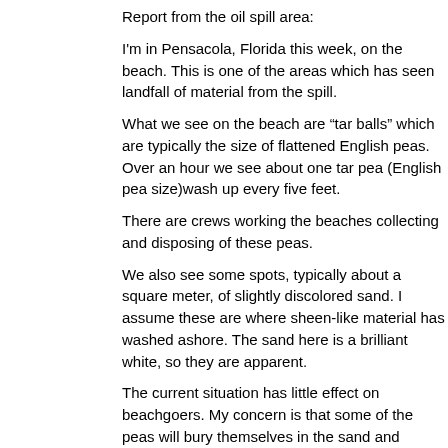Report from the oil spill area:
I'm in Pensacola, Florida this week, on the beach. This is one of the areas which has seen landfall of material from the spill.
What we see on the beach are “tar balls” which are typically the size of flattened English peas. Over an hour we see about one tar pea (English pea size)wash up every five feet.
There are crews working the beaches collecting and disposing of these peas.
We also see some spots, typically about a square meter, of slightly discolored sand. I assume these are where sheen-like material has washed ashore. The sand here is a brilliant white, so they are apparent.
The current situation has little effect on beachgoers. My concern is that some of the peas will bury themselves in the sand and therefore be slow to degrade. The sand remains absolutely beautiful and we’re having a great time.
I’ll post again as the week moves along.
38. Peter on Oct 25, 2010 at 2:22 AM
The news on this oil spill seems to have gone quiet in recent months.
Has the oil dispersed now from the shores and marsh lands thus life returing to normal?